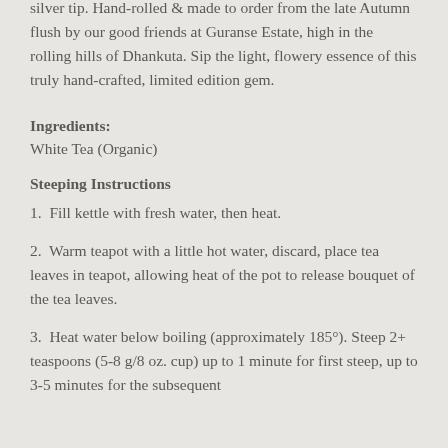silver tip. Hand-rolled & made to order from the late Autumn flush by our good friends at Guranse Estate, high in the rolling hills of Dhankuta. Sip the light, flowery essence of this truly hand-crafted, limited edition gem.
Ingredients: White Tea (Organic)
Steeping Instructions
1. Fill kettle with fresh water, then heat.
2. Warm teapot with a little hot water, discard, place tea leaves in teapot, allowing heat of the pot to release bouquet of the tea leaves.
3. Heat water below boiling (approximately 185°). Steep 2+ teaspoons (5-8 g/8 oz. cup) up to 1 minute for first steep, up to 3-5 minutes for the subsequent